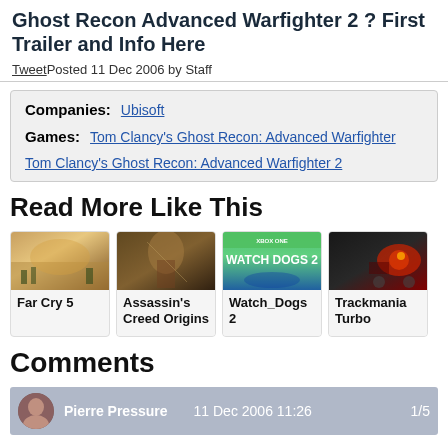Ghost Recon Advanced Warfighter 2 ? First Trailer and Info Here
Tweet  Posted 11 Dec 2006 by Staff
Companies:  Ubisoft
Games:  Tom Clancy's Ghost Recon: Advanced Warfighter
Tom Clancy's Ghost Recon: Advanced Warfighter 2
Read More Like This
[Figure (photo): Far Cry 5 game thumbnail]
[Figure (photo): Assassin's Creed Origins game thumbnail]
[Figure (photo): Watch_Dogs 2 game thumbnail]
[Figure (photo): Trackmania Turbo game thumbnail]
Comments
Pierre Pressure   11 Dec 2006 11:26   1/5